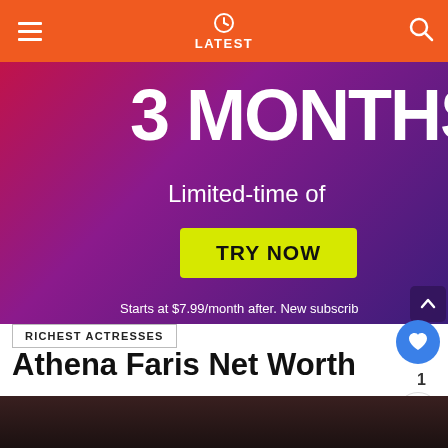LATEST
[Figure (other): Advertisement banner: '3 MONTHS / Limited-time offer / TRY NOW / Starts at $7.99/month after. New subscribers']
RICHEST ACTRESSES
Athena Faris Net Worth
1.7k Views
[Figure (photo): Partial photo visible at very bottom of page, dark background]